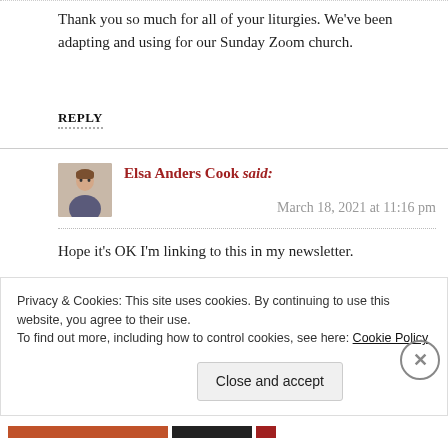Thank you so much for all of your liturgies. We've been adapting and using for our Sunday Zoom church.
REPLY
Elsa Anders Cook said:
March 18, 2021 at 11:16 pm
Hope it's OK I'm linking to this in my newsletter.
Privacy & Cookies: This site uses cookies. By continuing to use this website, you agree to their use.
To find out more, including how to control cookies, see here: Cookie Policy